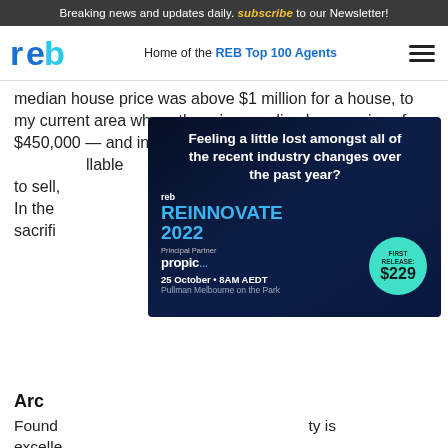Breaking news and updates daily. subscribe to our Newsletter!
[Figure (logo): REB logo and navigation bar with 'Home of the REB Top 100 Agents' and hamburger menu]
median house price was above $1 million for a house, to my current area where there is a median house price of $450,000 — and in some surrounding areas, significantly [lower/higher — text obscured] …llable to sell, [text obscured] …people. In the [text obscured] sacrifi[ce — text obscured]
[Figure (infographic): REB Reinnovate 2022 advertisement. Feeling a little lost amongst all of the recent industry changes over the past year? REB REINNOVATE 2022. Principal Partner: propic. 25 October • 8AM AEDT. Pullman Melbourne on the Park. First Release: $229]
Arc
Found[ed — text obscured] …ty is excelle[nt — text obscured]
“I call it the 90-minute arc,” he said.
[Figure (infographic): Pricefinder ad: Want to create digital appraisals that will stand out? Get Pricefinder. There's a solution for that. Pricefinder Agent Solutions powered by CoreLogic]
“Lifest[yle — text obscured] …s such a[s — text obscured] …been